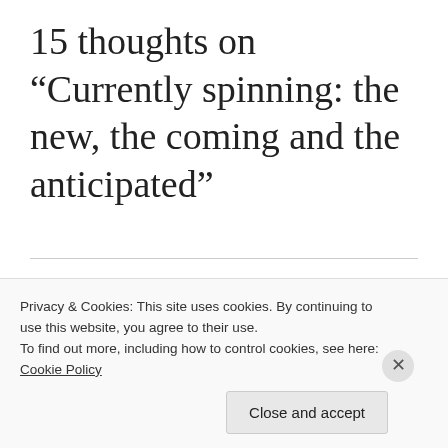15 thoughts on “Currently spinning: the new, the coming and the anticipated”
[Figure (photo): Circular avatar photo of Jim S., a man with short grey hair wearing a dark shirt, with a yellow background]
Jim S.
Privacy & Cookies: This site uses cookies. By continuing to use this website, you agree to their use.
To find out more, including how to control cookies, see here: Cookie Policy
Close and accept